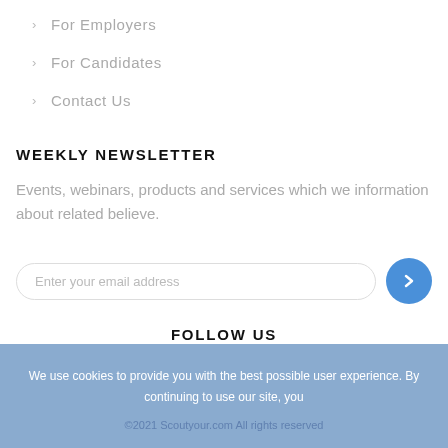> For Employers
> For Candidates
> Contact Us
WEEKLY NEWSLETTER
Events, webinars, products and services which we information about related believe.
Enter your email address
FOLLOW US
[Figure (infographic): Social media icons: Facebook, RSS, Twitter, LinkedIn, YouTube, Google+]
We use cookies to provide you with the best possible user experience. By continuing to use our site, you
©2021 Scoutyour.com All rights reserved